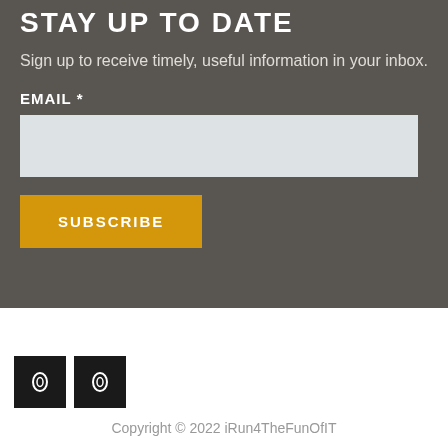STAY UP TO DATE
Sign up to receive timely, useful information in your inbox.
EMAIL *
[Figure (screenshot): Email input text field with light gray background]
[Figure (screenshot): Subscribe button with golden/amber background and white bold uppercase text reading SUBSCRIBE]
[Figure (screenshot): Two social media icon buttons with black square backgrounds side by side]
Copyright © 2022 iRun4TheFunOfIT